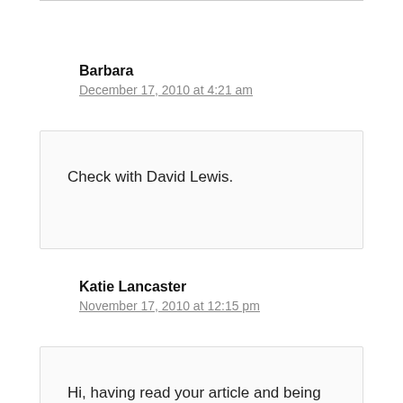Barbara
December 17, 2010 at 4:21 am
Check with David Lewis.
Katie Lancaster
November 17, 2010 at 12:15 pm
Hi, having read your article and being new to the bromoil process I have found that Kentmere Art